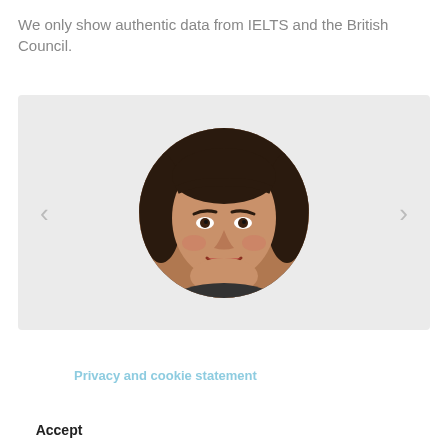We only show authentic data from IELTS and the British Council.
[Figure (photo): Circular profile photo of a young woman with dark brown hair, smiling, set inside a carousel with left and right navigation arrows on a light grey background.]
This site uses cookies
Read our Privacy and cookie statement to know more. By clicking the Accept button, you agree to us doing so.
Accept
No, thanks